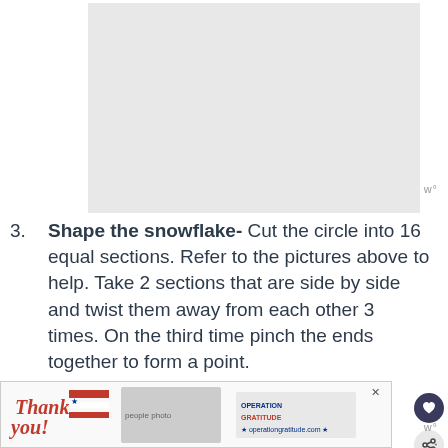[Figure (photo): Gray placeholder image area at top of page]
w°
3. Shape the snowflake- Cut the circle into 16 equal sections. Refer to the pictures above to help. Take 2 sections that are side by side and twist them away from each other 3 times. On the third time pinch the ends together to form a point.
[Figure (photo): Advertisement banner: Thank you with Operation Gratitude logo and people holding packages]
w°